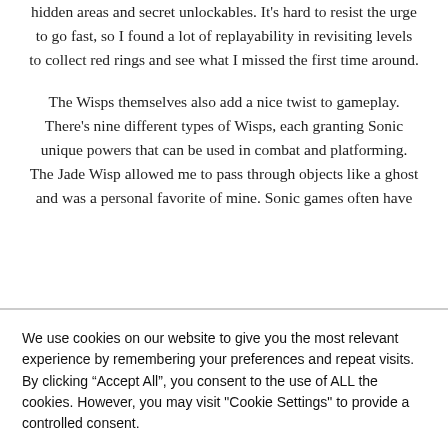hidden areas and secret unlockables. It's hard to resist the urge to go fast, so I found a lot of replayability in revisiting levels to collect red rings and see what I missed the first time around.
The Wisps themselves also add a nice twist to gameplay. There's nine different types of Wisps, each granting Sonic unique powers that can be used in combat and platforming. The Jade Wisp allowed me to pass through objects like a ghost and was a personal favorite of mine. Sonic games often have
We use cookies on our website to give you the most relevant experience by remembering your preferences and repeat visits. By clicking “Accept All”, you consent to the use of ALL the cookies. However, you may visit "Cookie Settings" to provide a controlled consent.